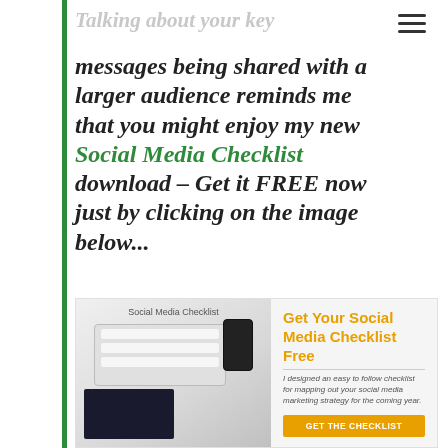Talking about your key messages being shared with a larger audience reminds me that you might enjoy my new Social Media Checklist download – Get it FREE now just by clicking on the image below...
[Figure (infographic): Social Media Checklist promotional banner with a desk photo (keyboard, phone, notebook) on the left and text 'Get Your Social Media Checklist Free' in orange with a description and a yellow 'GET THE CHECKLIST' button on the right.]